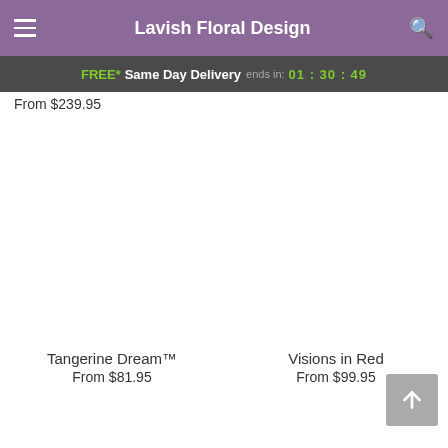Lavish Floral Design
FREE* Same Day Delivery ends in: 01 : 30 : 49
From $239.95
Tangerine Dream™
From $81.95
Visions in Red
From $99.95